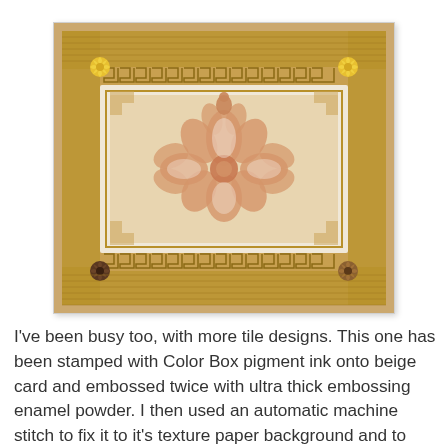[Figure (photo): A handcrafted tile design stamped with Color Box pigment ink on beige card, embossed twice with ultra thick embossing enamel powder, affixed to a texture paper background with automatic machine stitch, with flower-shaped copper coloured sequins at each corner.]
I've been busy too, with more tile designs. This one has been stamped with Color Box pigment ink onto beige card and embossed twice with ultra thick embossing enamel powder. I then used an automatic machine stitch to fix it to it's texture paper background and to stitch it to the page. I'm not quite sure about the flower shaped copper coloured sequins at each corner, but it seemed to need something to finish it off.